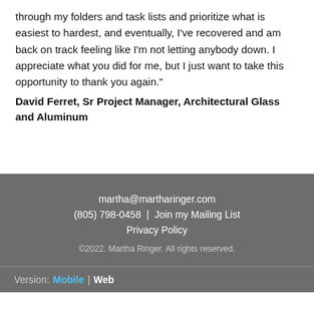through my folders and task lists and prioritize what is easiest to hardest, and eventually, I've recovered and am back on track feeling like I'm not letting anybody down. I appreciate what you did for me, but I just want to take this opportunity to thank you again."
David Ferret, Sr Project Manager, Architectural Glass and Aluminum
martha@martharinger.com | (805) 798-0458 | Join my Mailing List | Privacy Policy | ©2022. Martha Ringer. All rights reserved.
Version: Mobile | Web